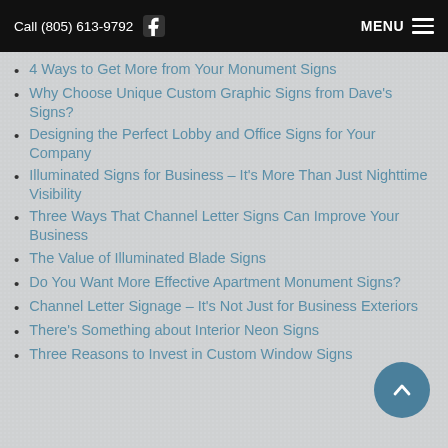Call (805) 613-9792  MENU
4 Ways to Get More from Your Monument Signs
Why Choose Unique Custom Graphic Signs from Dave's Signs?
Designing the Perfect Lobby and Office Signs for Your Company
Illuminated Signs for Business – It's More Than Just Nighttime Visibility
Three Ways That Channel Letter Signs Can Improve Your Business
The Value of Illuminated Blade Signs
Do You Want More Effective Apartment Monument Signs?
Channel Letter Signage – It's Not Just for Business Exteriors
There's Something about Interior Neon Signs
Three Reasons to Invest in Custom Window Signs